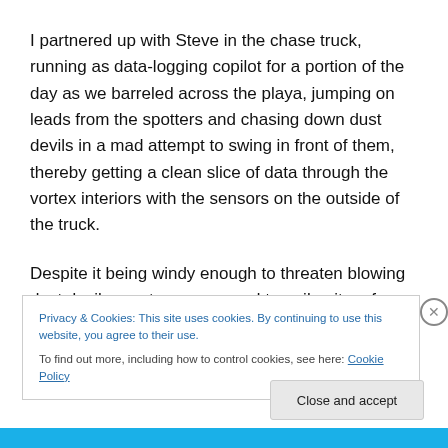I partnered up with Steve in the chase truck, running as data-logging copilot for a portion of the day as we barreled across the playa, jumping on leads from the spotters and chasing down dust devils in a mad attempt to swing in front of them, thereby getting a clean slice of data through the vortex interiors with the sensors on the outside of the truck.
Despite it being windy enough to threaten blowing dust devils apart, we managed to nail quite a few by the end of
Privacy & Cookies: This site uses cookies. By continuing to use this website, you agree to their use.
To find out more, including how to control cookies, see here: Cookie Policy
Close and accept